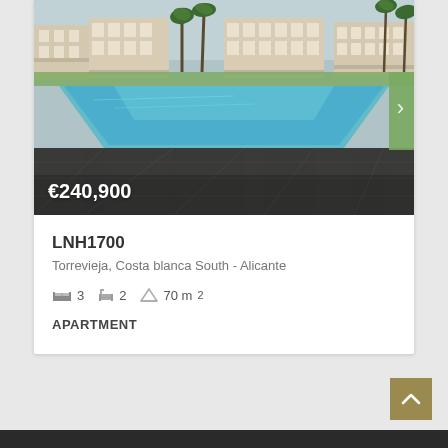[Figure (photo): Infinity pool with dark tiled surround reflecting residential apartment buildings with palm trees in background. Outdoor property photo.]
€240,900
LNH1700
Torrevieja, Costa blanca South - Alicante
3  2  70 m²
APARTMENT